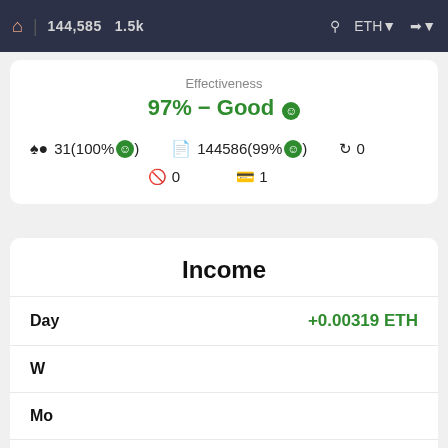🏠 | 144,585  1.5k   🔍  ETH ▾  ➔ ▾
Effectiveness
97% - Good 😊
🧩 31(100% 😊)    📋 144586(99% 😊)    🔄 0
🚫 0    💳 1
Income
|  |  |
| --- | --- |
| Day | +0.00319 ETH |
| W |  |
| Mo |  |
| AP |  |
By using our site you agree to our use of cookies to deliver a better user experience.
Only Necessary
Accept All Cookies